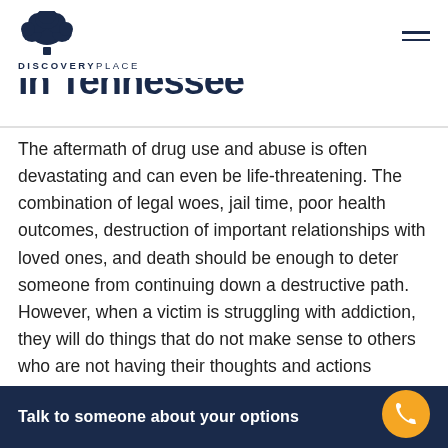DISCOVERY PLACE
in Tennessee
The aftermath of drug use and abuse is often devastating and can even be life-threatening. The combination of legal woes, jail time, poor health outcomes, destruction of important relationships with loved ones, and death should be enough to deter someone from continuing down a destructive path. However, when a victim is struggling with addiction, they will do things that do not make sense to others who are not having their thoughts and actions controlled by toxic substances.
Talk to someone about your options